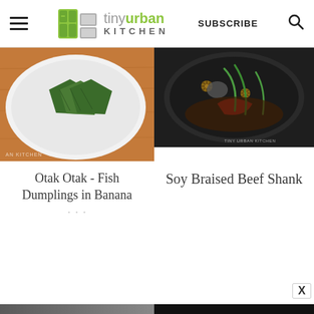tiny urban KITCHEN | SUBSCRIBE
[Figure (photo): Food photo of Otak Otak - fish dumplings wrapped in banana leaves on a white plate on an orange wooden surface]
[Figure (photo): Food photo of Soy Braised Beef Shank - dark pot with vegetables, star anise, peppers, and greens]
Otak Otak - Fish Dumplings in Banana
Soy Braised Beef Shank
[Figure (screenshot): Advertisement banner: Pop in & Shop New Arrivals - World Market with blue diamond arrow logo]